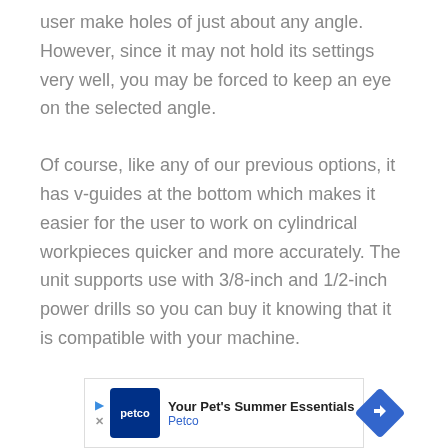user make holes of just about any angle. However, since it may not hold its settings very well, you may be forced to keep an eye on the selected angle.
Of course, like any of our previous options, it has v-guides at the bottom which makes it easier for the user to work on cylindrical workpieces quicker and more accurately. The unit supports use with 3/8-inch and 1/2-inch power drills so you can buy it knowing that it is compatible with your machine.
[Figure (other): Petco advertisement banner: Your Pet's Summer Essentials, with Petco logo and blue arrow icon]